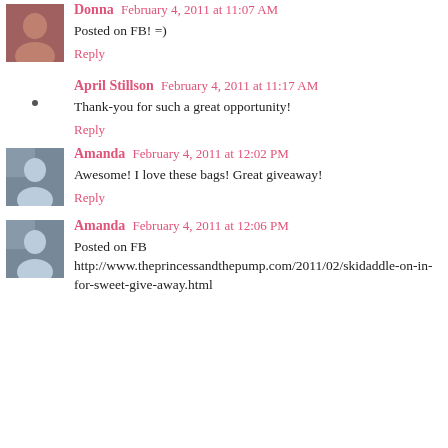Donna February 4, 2011 at 11:07 AM
Posted on FB! =)
Reply
April Stillson February 4, 2011 at 11:17 AM
Thank-you for such a great opportunity!
Reply
Amanda February 4, 2011 at 12:02 PM
Awesome! I love these bags! Great giveaway!
Reply
Amanda February 4, 2011 at 12:06 PM
Posted on FB http://www.theprincessandthepump.com/2011/02/skidaddle-on-in-for-sweet-give-away.html